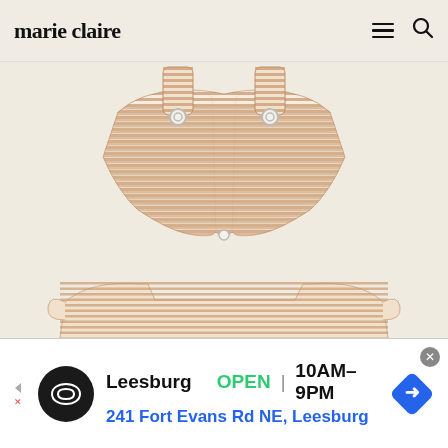marie claire
[Figure (photo): Product photo of a striped tan and white bikini set with bikini top showing on upper portion and bikini bottom partially visible at lower portion, on a cream/beige background]
[Figure (infographic): Advertisement banner for a Leesburg store: logo circle with infinity symbol, text 'Leesburg OPEN | 10AM-9PM' and '241 Fort Evans Rd NE, Leesburg', blue diamond navigation icon on right, close button top right]